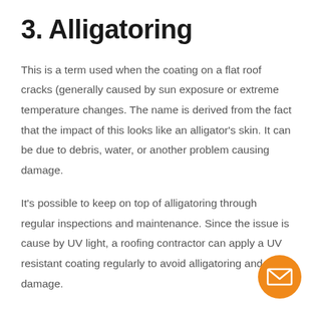3. Alligatoring
This is a term used when the coating on a flat roof cracks (generally caused by sun exposure or extreme temperature changes. The name is derived from the fact that the impact of this looks like an alligator's skin. It can be due to debris, water, or another problem causing damage.
It's possible to keep on top of alligatoring through regular inspections and maintenance. Since the issue is cause by UV light, a roofing contractor can apply a UV resistant coating regularly to avoid alligatoring and sun damage.
[Figure (other): Orange circular button with envelope/email icon]